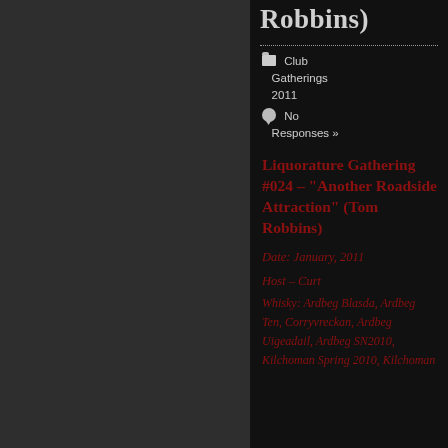Robbins)
Club Gatherings 2011
No Responses »
Liquorature Gathering #024 – "Another Roadside Attraction" (Tom Robbins)
Date:  January, 2011
Host – Curt
Whisky:  Ardbeg Blasda, Ardbeg Ten, Corryvreckan, Ardbeg Uigeadail, Ardbeg SN2010, Kilchoman Spring 2010, Kilchoman